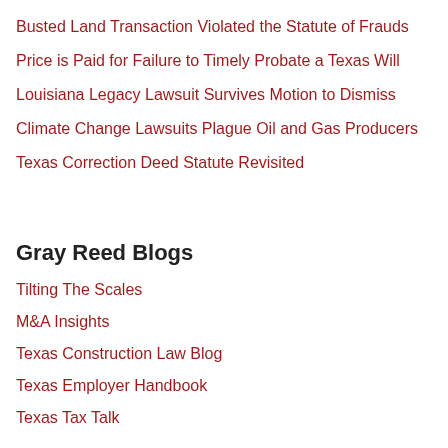Busted Land Transaction Violated the Statute of Frauds
Price is Paid for Failure to Timely Probate a Texas Will
Louisiana Legacy Lawsuit Survives Motion to Dismiss
Climate Change Lawsuits Plague Oil and Gas Producers
Texas Correction Deed Statute Revisited
Gray Reed Blogs
Tilting The Scales
M&A Insights
Texas Construction Law Blog
Texas Employer Handbook
Texas Tax Talk